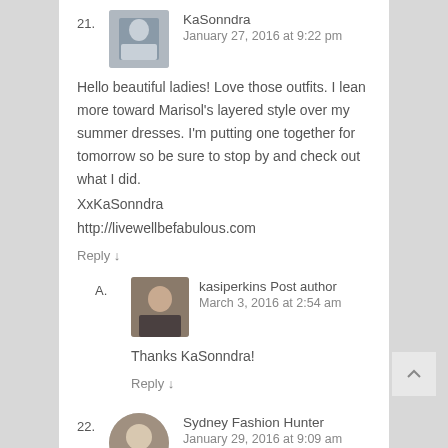21. KaSonndra — January 27, 2016 at 9:22 pm
Hello beautiful ladies! Love those outfits. I lean more toward Marisol's layered style over my summer dresses. I'm putting one together for tomorrow so be sure to stop by and check out what I did.
XxKaSonndra
http://livewellbefabulous.com
Reply ↓
A. kasiperkins Post author — March 3, 2016 at 2:54 am
Thanks KaSonndra!
Reply ↓
22. Sydney Fashion Hunter — January 29, 2016 at 9:09 am